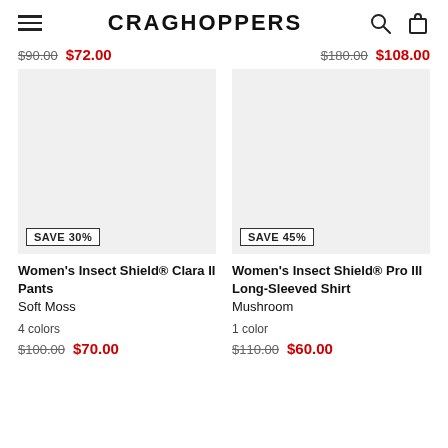CRAGHOPPERS
$90.00  $72.00    $180.00  $108.00
[Figure (photo): Women's clothing product image placeholder (light grey box) with SAVE 30% badge]
[Figure (photo): Women's clothing product image placeholder (light grey box) with SAVE 45% badge]
Women's Insect Shield® Clara II Pants
Soft Moss

4 colors
$100.00  $70.00
Women's Insect Shield® Pro III Long-Sleeved Shirt
Mushroom

1 color
$110.00  $60.00